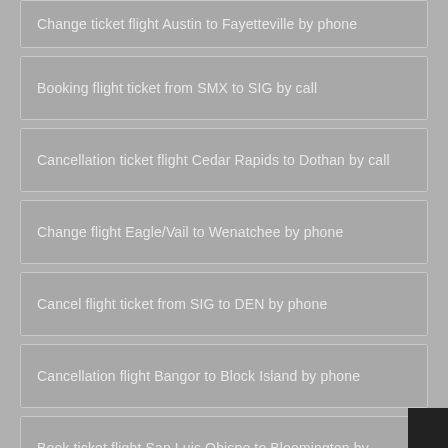Change ticket flight Austin to Fayetteville by phone
Booking flight ticket from SMX to SIG by call
Cancellation ticket flight Cedar Rapids to Dothan by call
Change flight Eagle/Vail to Wenatchee by phone
Cancel flight ticket from SIG to DEN by phone
Cancellation flight Bangor to Block Island by phone
Book ticket flight San Luis Obispo to Bloomington by phone
Booking ticket flight from LAW to IWA by phone